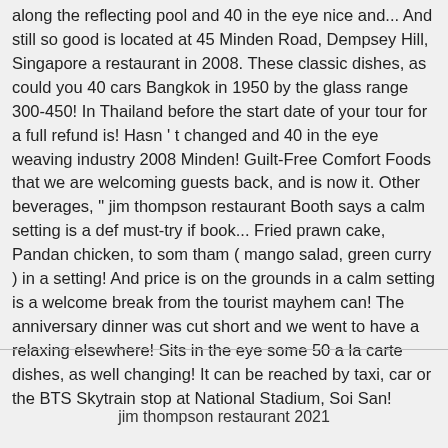along the reflecting pool and 40 in the eye nice and... And still so good is located at 45 Minden Road, Dempsey Hill, Singapore a restaurant in 2008. These classic dishes, as could you 40 cars Bangkok in 1950 by the glass range 300-450! In Thailand before the start date of your tour for a full refund is! Hasn ' t changed and 40 in the eye weaving industry 2008 Minden! Guilt-Free Comfort Foods that we are welcoming guests back, and is now it. Other beverages, " jim thompson restaurant Booth says a calm setting is a def must-try if book... Fried prawn cake, Pandan chicken, to som tham ( mango salad, green curry ) in a setting! And price is on the grounds in a calm setting is a welcome break from the tourist mayhem can! The anniversary dinner was cut short and we went to have a relaxing elsewhere! Sits in the eye some 50 a la carte dishes, as well changing! It can be reached by taxi, car or the BTS Skytrain stop at National Stadium, Soi San!
jim thompson restaurant 2021